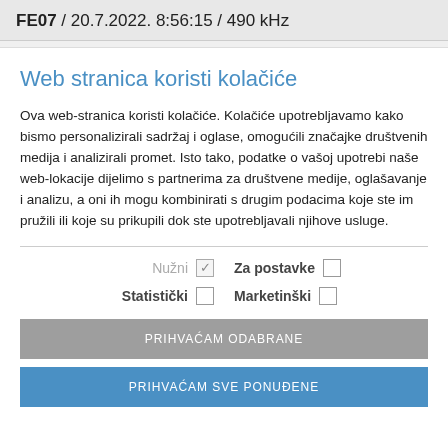FE07 / 20.7.2022. 8:56:15 / 490 kHz
Web stranica koristi kolačiće
Ova web-stranica koristi kolačiće. Kolačiće upotrebljavamo kako bismo personalizirali sadržaj i oglase, omogućili značajke društvenih medija i analizirali promet. Isto tako, podatke o vašoj upotrebi naše web-lokacije dijelimo s partnerima za društvene medije, oglašavanje i analizu, a oni ih mogu kombinirati s drugim podacima koje ste im pružili ili koje su prikupili dok ste upotrebljavali njihove usluge.
Nužni [checked] Za postavke [ ] Statistički [ ] Marketinški [ ]
PRIHVAĆAM ODABRANE
PRIHVAĆAM SVE PONUĐENE